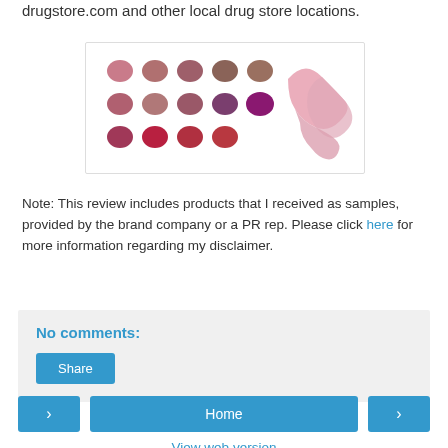drugstore.com and other local drug store locations.
[Figure (photo): Image showing multiple lipstick/lip color swatches arranged in a grid pattern (14 round dots in pink, mauve, and deep red shades) alongside a glossy lip product swatch in light pink.]
Note: This review includes products that I received as samples, provided by the brand company or a PR rep. Please click here for more information regarding my disclaimer.
No comments:
Share
Home
View web version